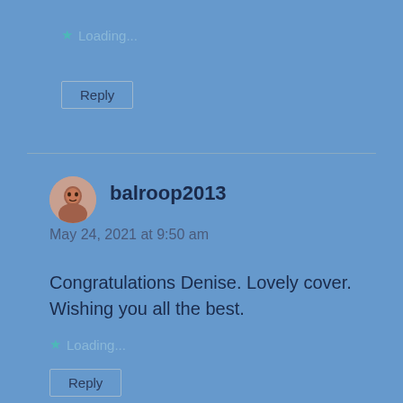Loading...
Reply
balroop2013
May 24, 2021 at 9:50 am
Congratulations Denise. Lovely cover. Wishing you all the best.
Loading...
Reply